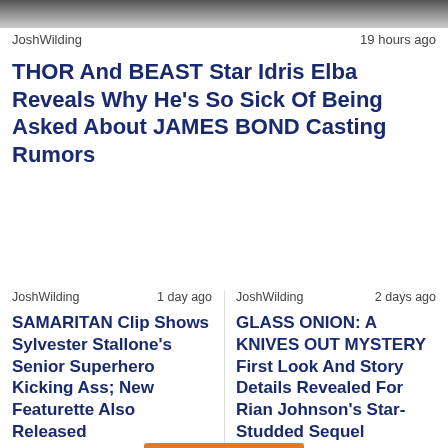[Figure (photo): Blurred dark banner image at top of page]
JoshWilding   19 hours ago
THOR And BEAST Star Idris Elba Reveals Why He's So Sick Of Being Asked About JAMES BOND Casting Rumors
JoshWilding   1 day ago
SAMARITAN Clip Shows Sylvester Stallone's Senior Superhero Kicking Ass; New Featurette Also Released
JoshWilding   2 days ago
GLASS ONION: A KNIVES OUT MYSTERY First Look And Story Details Revealed For Rian Johnson's Star-Studded Sequel